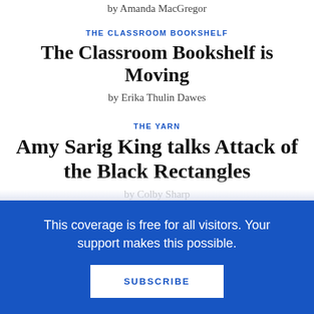by Amanda MacGregor
THE CLASSROOM BOOKSHELF
The Classroom Bookshelf is Moving
by Erika Thulin Dawes
THE YARN
Amy Sarig King talks Attack of the Black Rectangles
by Colby Sharp
This coverage is free for all visitors. Your support makes this possible.
SUBSCRIBE